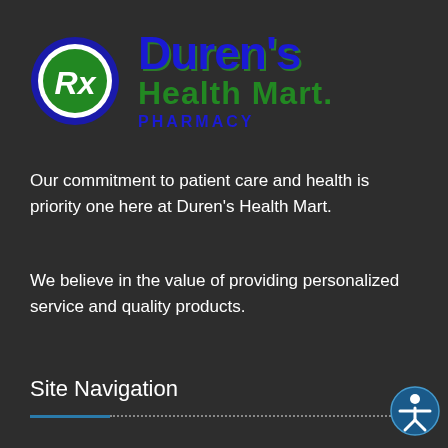[Figure (logo): Duren's Health Mart Pharmacy logo with Rx symbol circle on left and blue/green text on right]
Our commitment to patient care and health is priority one here at Duren's Health Mart.
We believe in the value of providing personalized service and quality products.
Site Navigation